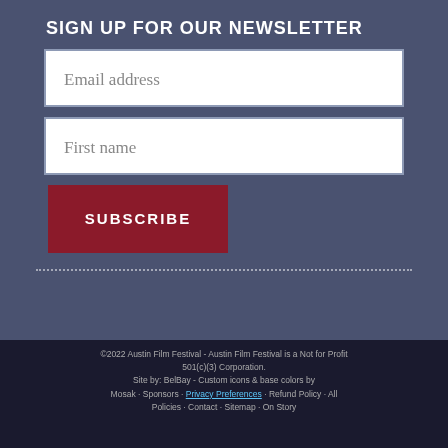SIGN UP FOR OUR NEWSLETTER
Email address
First name
SUBSCRIBE
©2022 Austin Film Festival - Austin Film Festival is a Not for Profit 501(c)(3) Corporation. Site by: BelBay - Custom icons & base colors by Mosak - Sponsors - Refund Policy - All Policies - Contact - Sitemap - On Story